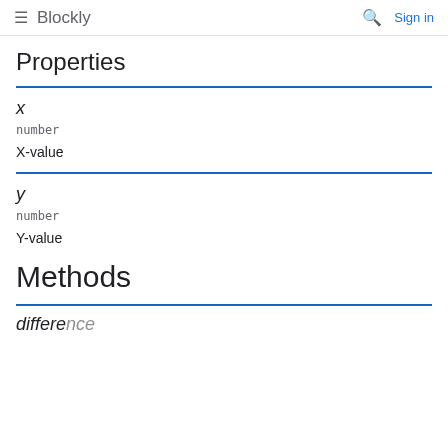≡ Blockly  🔍 Sign in
Properties
x
number
X-value
y
number
Y-value
Methods
difference